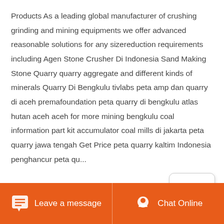Products As a leading global manufacturer of crushing grinding and mining equipments we offer advanced reasonable solutions for any sizereduction requirements including Agen Stone Crusher Di Indonesia Sand Making Stone Quarry quarry aggregate and different kinds of minerals Quarry Di Bengkulu tivlabs peta amp dan quarry di aceh premafoundation peta quarry di bengkulu atlas hutan aceh aceh for more mining bengkulu coal information part kit accumulator coal mills di jakarta peta quarry jawa tengah Get Price peta quarry kaltim Indonesia penghancur peta qu...
Read More
[Figure (illustration): Rocket icon popup button with white background and rounded border]
Leave a message    Chat Online